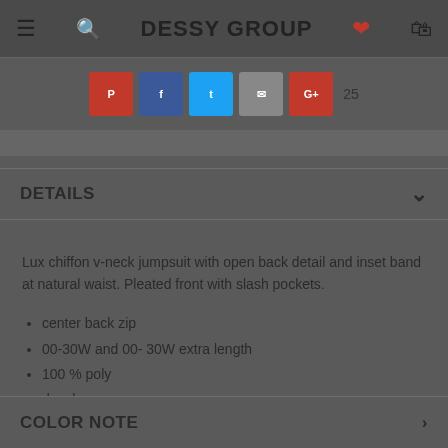DESSY GROUP
[Figure (other): Social share icons: Pinterest, Facebook, Twitter, Email, Google+, with share count 25]
DETAILS
Lux chiffon v-neck jumpsuit with open back detail and inset band at natural waist. Pleated front with slash pockets.
center back zip
00-30W and 00- 30W extra length
100 % poly
dry clean
imported
COLOR NOTE